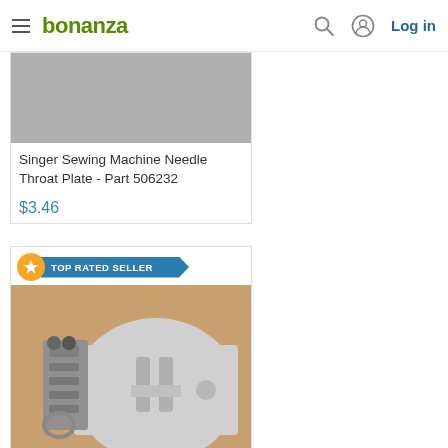bonanza — Log in
[Figure (photo): Partial product image of Singer Sewing Machine Needle Throat Plate (gray/silver metal part), top portion cropped]
Singer Sewing Machine Needle Throat Plate - Part 506232
$3.46
[Figure (photo): Photo of Singer Stylist Throat Plate #102468 and Feed Dog sewing machine parts on brown surface]
Singer Stylist Throat Plate #102468 & Feed Dog Used Working Repair Parts